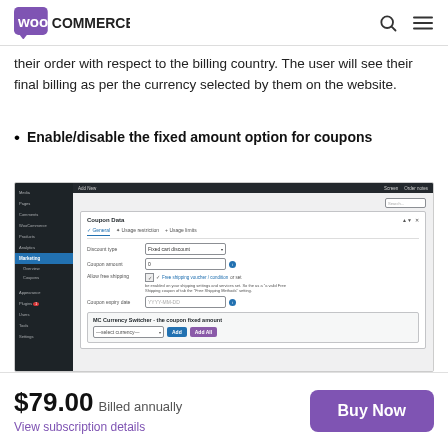WooCommerce
their order with respect to the billing country. The user will see their final billing as per the currency selected by them on the website.
Enable/disable the fixed amount option for coupons
[Figure (screenshot): WordPress admin screenshot showing WooCommerce coupon settings with MC Currency Switcher - the coupon fixed amount section, including fields for Discount type, Coupon amount, Allow free shipping, Coupon expiry date, and a currency selector with Add and Add All buttons.]
$79.00 Billed annually
View subscription details
Buy Now